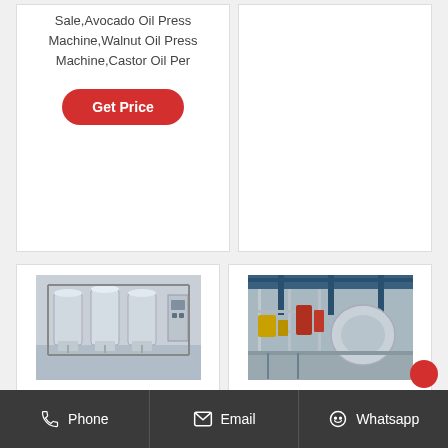Sale,Avocado Oil Press Machine,Walnut Oil Press Machine,Castor Oil Per
[Figure (other): Red rounded button with white text 'Get Price']
[Figure (photo): Industrial oil processing equipment — stainless steel tanks and machinery on racks]
[Figure (photo): Large industrial facility interior with scaffolding, tanks, and yellow equipment]
Phone   Email   Whatsapp